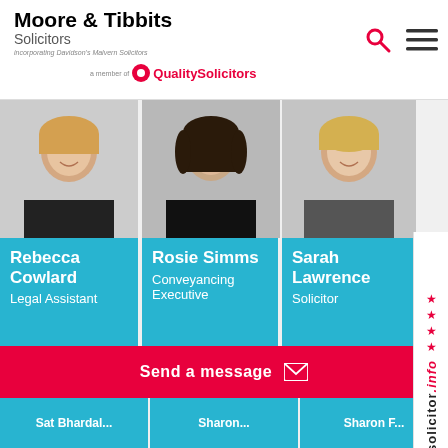Moore & Tibbits Solicitors — incorporating Davidson's Malvern Solicitors — a member of QualitySolicitors
[Figure (photo): Headshot photo of Rebecca Cowlard]
Rebecca Cowlard
Legal Assistant
Contact
[Figure (photo): Headshot photo of Rosie Simms]
Rosie Simms
Conveyancing Executive
Contact
[Figure (photo): Headshot photo of Sarah Lawrence]
Sarah Lawrence
Solicitor
Contact
[Figure (photo): Partial headshot of male staff member wearing turban]
[Figure (photo): Partial headshot of female staff member]
[Figure (photo): Partial headshot of blonde female staff member]
Send a message
solicitor.info